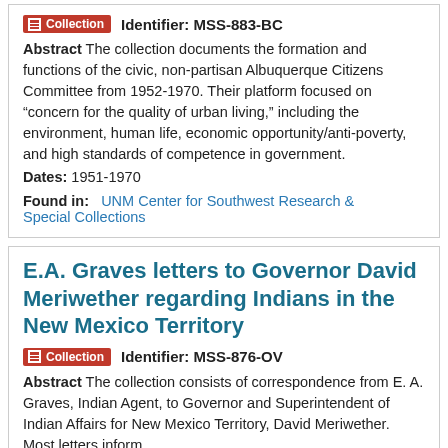Collection   Identifier: MSS-883-BC
Abstract The collection documents the formation and functions of the civic, non-partisan Albuquerque Citizens Committee from 1952-1970. Their platform focused on “concern for the quality of urban living,” including the environment, human life, economic opportunity/anti-poverty, and high standards of competence in government.
Dates: 1951-1970
Found in:   UNM Center for Southwest Research & Special Collections
E.A. Graves letters to Governor David Meriwether regarding Indians in the New Mexico Territory
Collection   Identifier: MSS-876-OV
Abstract The collection consists of correspondence from E. A. Graves, Indian Agent, to Governor and Superintendent of Indian Affairs for New Mexico Territory, David Meriwether. Most letters inform